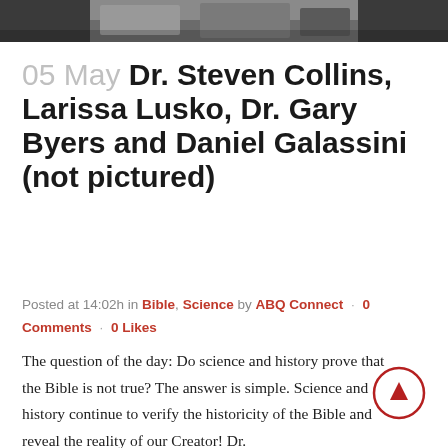[Figure (photo): Partial photo strip at top of page showing people outdoors]
05 May Dr. Steven Collins, Larissa Lusko, Dr. Gary Byers and Daniel Galassini (not pictured)
Posted at 14:02h in Bible, Science by ABQ Connect · 0 Comments · 0 Likes
The question of the day: Do science and history prove that the Bible is not true? The answer is simple. Science and history continue to verify the historicity of the Bible and reveal the reality of our Creator! Dr.